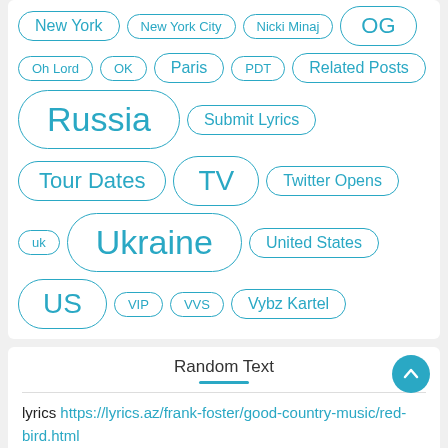New York
New York City
Nicki Minaj
OG
Oh Lord
OK
Paris
PDT
Related Posts
Russia
Submit Lyrics
Tour Dates
TV
Twitter Opens
uk
Ukraine
United States
US
VIP
VVS
Vybz Kartel
Random Text
lyrics https://lyrics.az/frank-foster/good-country-music/red-bird.html